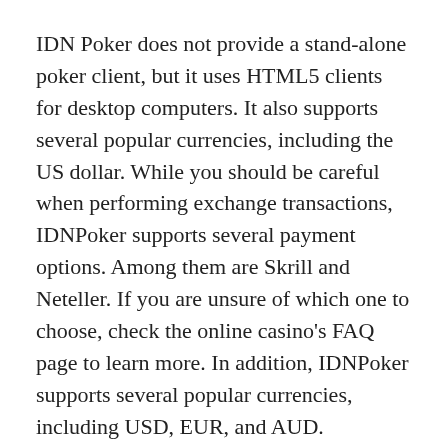IDN Poker does not provide a stand-alone poker client, but it uses HTML5 clients for desktop computers. It also supports several popular currencies, including the US dollar. While you should be careful when performing exchange transactions, IDNPoker supports several payment options. Among them are Skrill and Neteller. If you are unsure of which one to choose, check the online casino's FAQ page to learn more. In addition, IDNPoker supports several popular currencies, including USD, EUR, and AUD.
IDNPoker aims to become the world's largest poker network. It is the third largest in terms of daily connections, with over 20,000 players. It has a soft playing field, and is increasingly popular in Europe and Asia. IDNPoker is the only poker network in Asia with a fully translated interface. IDNPoker has a large